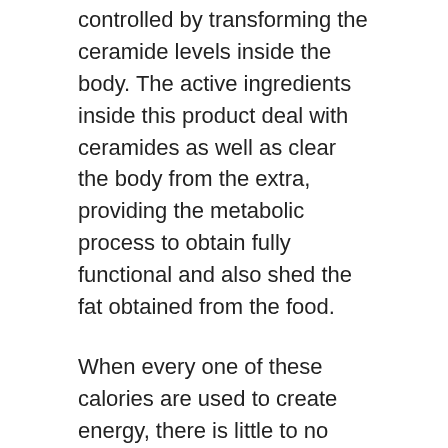controlled by transforming the ceramide levels inside the body. The active ingredients inside this product deal with ceramides as well as clear the body from the extra, providing the metabolic process to obtain fully functional and also shed the fat obtained from the food.
When every one of these calories are used to create energy, there is little to no chance of fat build-up. By doing this, the body never ever gains weight, whatever you consume later on.